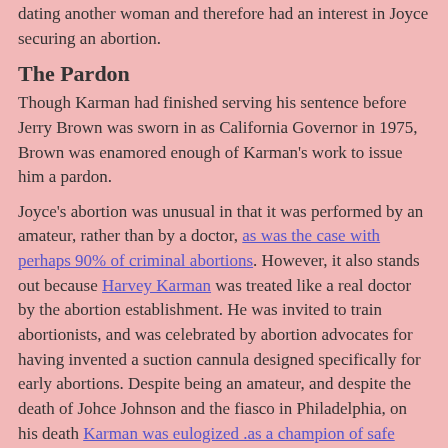dating another woman and therefore had an interest in Joyce securing an abortion.
The Pardon
Though Karman had finished serving his sentence before Jerry Brown was sworn in as California Governor in 1975, Brown was enamored enough of Karman's work to issue him a pardon.
Joyce's abortion was unusual in that it was performed by an amateur, rather than by a doctor, as was the case with perhaps 90% of criminal abortions. However, it also stands out because Harvey Karman was treated like a real doctor by the abortion establishment. He was invited to train abortionists, and was celebrated by abortion advocates for having invented a suction cannula designed specifically for early abortions. Despite being an amateur, and despite the death of Johce Johnson and the fiasco in Philadelphia, on his death Karman was eulogized .as a champion of safe abortions.
at 12:05 AM   No comments: